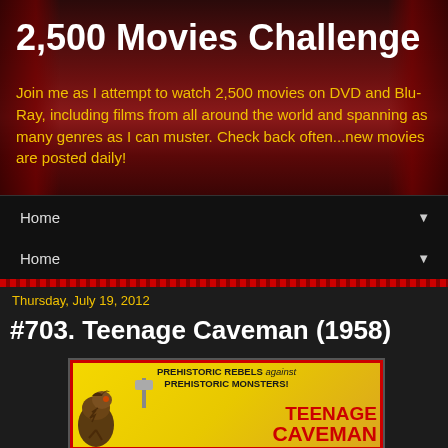2,500 Movies Challenge
Join me as I attempt to watch 2,500 movies on DVD and Blu-Ray, including films from all around the world and spanning as many genres as I can muster. Check back often...new movies are posted daily!
Home ▼
Home ▼
Thursday, July 19, 2012
#703. Teenage Caveman (1958)
[Figure (illustration): Movie poster for Teenage Caveman (1958) with yellow background. Text reads 'PREHISTORIC REBELS against PREHISTORIC MONSTERS!' at top. Title 'TEENAGE CAVEMAN' in red bold text. A monster/dinosaur illustration on the left side.]